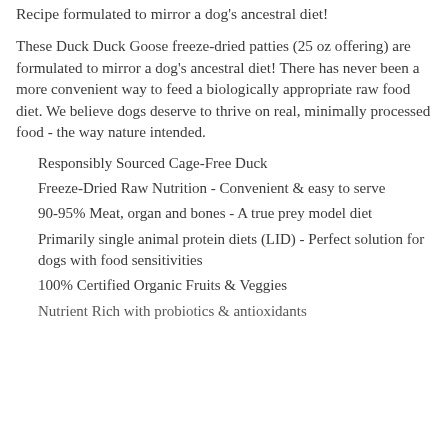Recipe formulated to mirror a dog's ancestral diet!
These Duck Duck Goose freeze-dried patties (25 oz offering) are formulated to mirror a dog's ancestral diet! There has never been a more convenient way to feed a biologically appropriate raw food diet. We believe dogs deserve to thrive on real, minimally processed food - the way nature intended.
Responsibly Sourced Cage-Free Duck
Freeze-Dried Raw Nutrition - Convenient & easy to serve
90-95% Meat, organ and bones - A true prey model diet
Primarily single animal protein diets (LID) - Perfect solution for dogs with food sensitivities
100% Certified Organic Fruits & Veggies
Nutrient Rich with probiotics & antioxidants